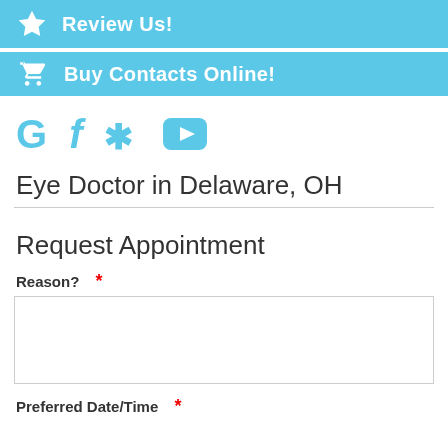Review Us!
Buy Contacts Online!
[Figure (infographic): Social media icons: Google (G), Facebook (f), Yelp, YouTube]
Eye Doctor in Delaware, OH
Request Appointment
Reason? *
Preferred Date/Time *